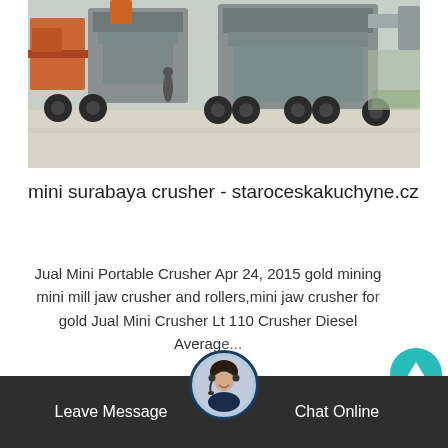[Figure (photo): Industrial mobile crushers / heavy machinery on trucks lined up on a paved lot]
mini surabaya crusher - staroceskakuchyne.cz
Jual Mini Portable Crusher Apr 24, 2015 gold mining mini mill jaw crusher and rollers,mini jaw crusher for gold Jual Mini Crusher Lt 110 Crusher Diesel Average...
[Figure (other): Scroll-up button (teal circle with white upward arrow)]
[Figure (photo): Customer service agent avatar (woman with headset) in circular frame]
Leave Message   Chat Online